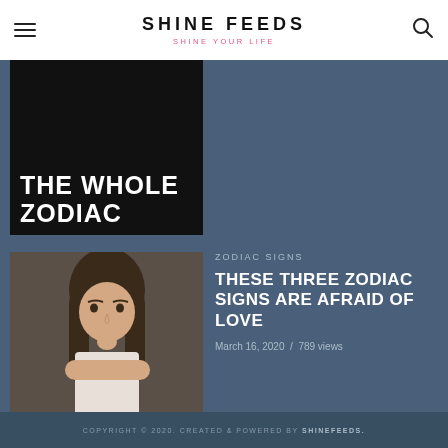SHINE FEEDS — SHINE YOUR LIFE
[Figure (photo): Partial image of article: text 'THE WHOLE ZODIAC' on black background]
[Figure (photo): Woman with long brown hair biting her nails, looking worried, on dark background]
ZODIAC SIGNS
THESE THREE ZODIAC SIGNS ARE AFRAID OF LOVE
March 16, 2020  /  789 views
WHO WE ARE?
About Us
Privacy Policy
Terms and Conditions
COPYRIGHT © 2020. CREATED & POWERED BY SHINEFEEDS.